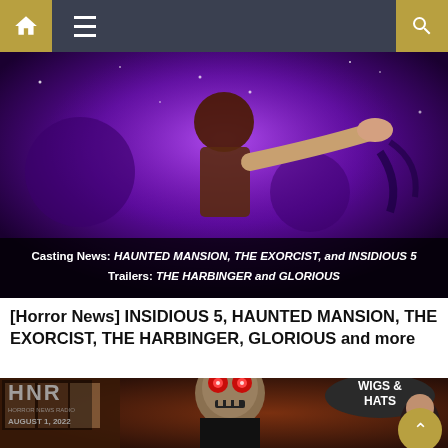Navigation bar with home, menu, and search icons
[Figure (photo): Horror movie promotional image with purple/dark tones showing a figure reaching out with text overlay: 'Casting News: HAUNTED MANSION, THE EXORCIST, and INSIDIOUS 5 Trailers: THE HARBINGER and GLORIOUS']
[Horror News] INSIDIOUS 5, HAUNTED MANSION, THE EXORCIST, THE HARBINGER, GLORIOUS and more
[Figure (photo): Screenshot from a horror scene showing a skull-faced figure with glowing red eyes in what appears to be a store with 'WIGS & HATS' sign, with HNR logo and date AUGUST 1, 2022]